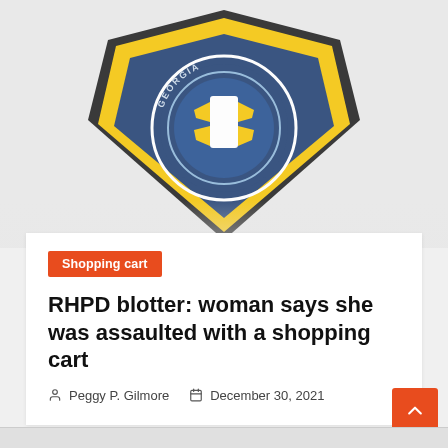[Figure (photo): Police department badge/patch — shield-shaped patch with blue, yellow, and black colors showing a Georgia state seal in the center]
Shopping cart
RHPD blotter: woman says she was assaulted with a shopping cart
Peggy P. Gilmore   December 30, 2021